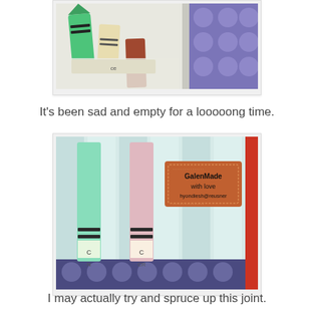[Figure (photo): Close-up photo of crayons (green and brown) on a white surface next to a purple patterned fabric]
It's been sad and empty for a looooong time.
[Figure (photo): Photo of crayons (blue-green and pink/mauve) standing in a fabric crayon holder with light blue stripes and purple polka-dot base; a red label reading 'GalenMade with love hyondiesh@reusner' is visible on the holder; red fabric trim on right]
I may actually try and spruce up this joint.